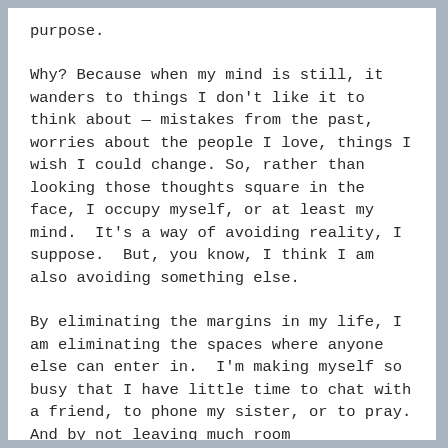purpose.
Why? Because when my mind is still, it wanders to things I don't like it to think about — mistakes from the past, worries about the people I love, things I wish I could change. So, rather than looking those thoughts square in the face, I occupy myself, or at least my mind.  It's a way of avoiding reality, I suppose.  But, you know, I think I am also avoiding something else.
By eliminating the margins in my life, I am eliminating the spaces where anyone else can enter in.  I'm making myself so busy that I have little time to chat with a friend, to phone my sister, or to pray. And by not leaving much room for the...